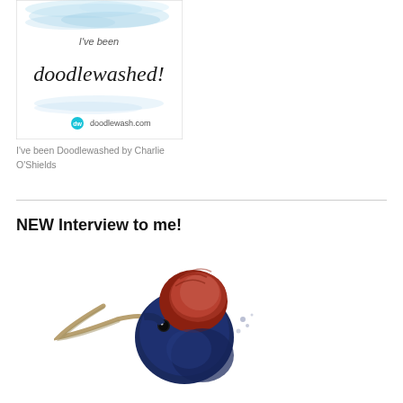[Figure (illustration): A square badge/certificate image with light blue watercolor brushstrokes at the top. Text reads "I've been" in light gray script font, then "doodlewashed!" in large cursive black font. At the bottom, a small circular cyan logo followed by "doodlewash.com" in small text. White background with light blue watercolor accents.]
I've been Doodlewashed by Charlie O'Shields
NEW Interview to me!
[Figure (illustration): A watercolor painting of a hummingbird or similar bird with a very long curved beak, reddish-orange head/crest, dark navy/blue body feathers, and a small black eye. Only the head and upper body are visible, cropped at the bottom of the page.]